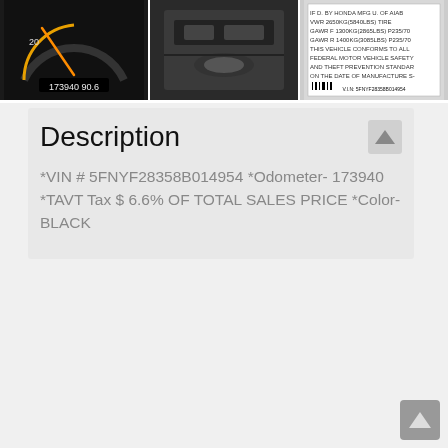[Figure (photo): Three vehicle photos: odometer showing 173940 miles, engine bay, and vehicle certification label with VIN 5FNYF28358B014954]
Description
*VIN # 5FNYF28358B014954 *Odometer- 173940 *TAVT Tax $ 6.6% OF TOTAL SALES PRICE *Color- BLACK